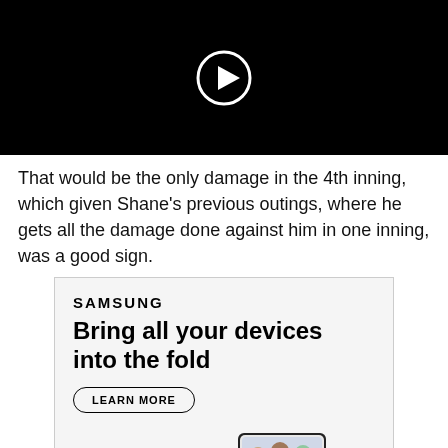[Figure (other): Black video player with white circular play button in the center]
That would be the only damage in the 4th inning, which given Shane's previous outings, where he gets all the damage done against him in one inning, was a good sign.
[Figure (other): Samsung advertisement banner showing 'SAMSUNG' logo, text 'Bring all your devices into the fold', a 'LEARN MORE' button, and Galaxy devices including a smartwatch, foldable phone, and earbuds. 'Galaxy' text at bottom.]